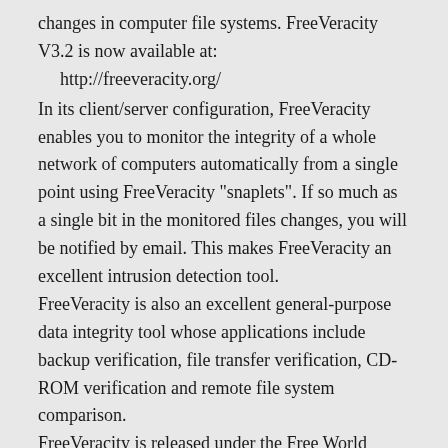changes in computer file systems. FreeVeracity V3.2 is now available at:
    http://freeveracity.org/
In its client/server configuration, FreeVeracity enables you to monitor the integrity of a whole network of computers automatically from a single point using FreeVeracity "snaplets". If so much as a single bit in the monitored files changes, you will be notified by email. This makes FreeVeracity an excellent intrusion detection tool.
FreeVeracity is also an excellent general-purpose data integrity tool whose applications include backup verification, file transfer verification, CD-ROM verification and remote file system comparison.
FreeVeracity is released under the Free World Licence (http://freeworldlicence.org/) which provides all the usual free-software freedoms, but for free platforms only.
FreeVeracity is released and supported by Rocksoft (http://rocksoft.com/), vendor of the Veracity